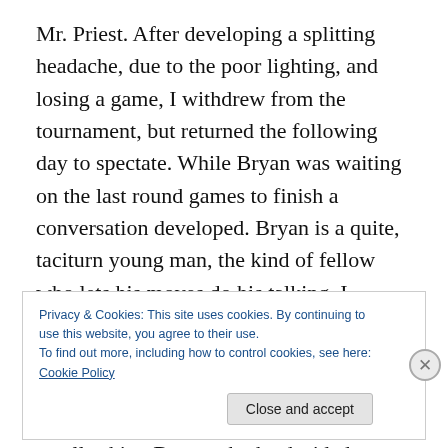Mr. Priest. After developing a splitting headache, due to the poor lighting, and losing a game, I withdrew from the tournament, but returned the following day to spectate. While Bryan was waiting on the last round games to finish a conversation developed. Bryan is a quite, taciturn young man, the kind of fellow who lets his moves do his talking. I learned he was from Anchorage Alaska, and he is now the first-ever Grandmaster from Alaska. My home state of Georgia has yet to produce a home-grown GM. I recall asking Bryan why he decided to travel to Louisville in lieu of playing in one of the other, larger, tournaments in his
Privacy & Cookies: This site uses cookies. By continuing to use this website, you agree to their use.
To find out more, including how to control cookies, see here: Cookie Policy
Close and accept